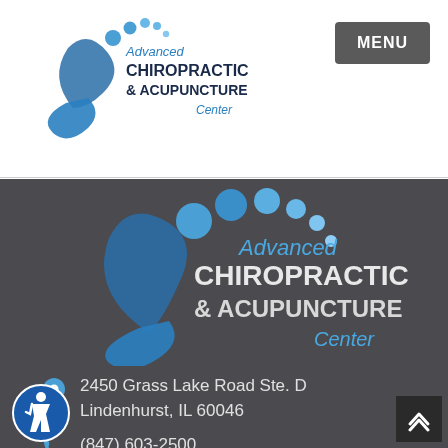[Figure (logo): Advanced Chiropractic & Acupuncture Center logo in header — blue figure with bubbles, blue and dark blue text]
MENU
[Figure (logo): Advanced Chiropractic & Acupuncture Center large logo centered on dark background]
2450 Grass Lake Road Ste. D
Lindenhurst, IL 60046
(847) 603-2500
View Map